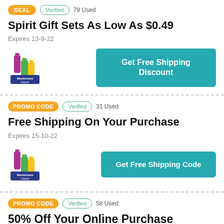DEAL | Verified | 79 Used
Spirit Gift Sets As Low As $0.49
Expires 13-9-22
[Figure (logo): Marketview Liquor logo with colored bottle silhouettes]
Get Free Shipping Discount
PROMO CODE | Verified | 31 Used
Free Shipping On Your Purchase
Expires 15-10-22
[Figure (logo): Marketview Liquor logo with colored bottle silhouettes]
Get Free Shipping Code
PROMO CODE | Verified | 58 Used
50% Off Your Online Purchase